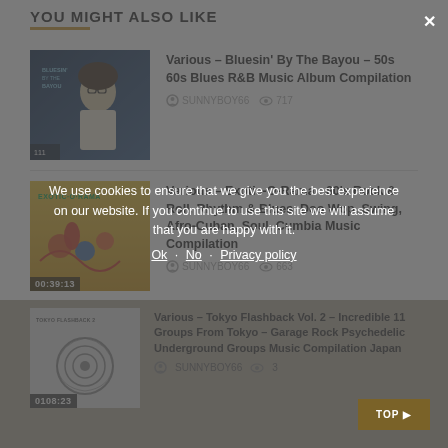YOU MIGHT ALSO LIKE
[Figure (photo): Bluesin By The Bayou album cover thumbnail - blue toned image of a man with glasses]
Various – Bluesin' By The Bayou – 50s 60s Blues R&B Music Album Compilation
SUNNYBOY66   717
[Figure (photo): Exotic-O-Rama album cover thumbnail - colorful illustrated figures, duration 00:39:13]
Various – Exotic-O-Rama : 60's Rock & Roll, Rhythm & Blues, Doo Wop, Swing, Afro-Cuban, Soul, Cumbia Music Compilation
SUNNYBOY66   663
[Figure (photo): Tokyo Flashback Vol. 2 album cover thumbnail - spiral/swirl pattern, duration 0108:23]
Various – Tokyo Flashback Vol. 2 – Incredible 11 Groups From Tokyo – Garage Rock Psychedelic Underground Groups Music Compilation Japan
SUNNYBOY66   3
We use cookies to ensure that we give you the best experience on our website. If you continue to use this site we will assume that you are happy with it.
Ok · No · Privacy policy